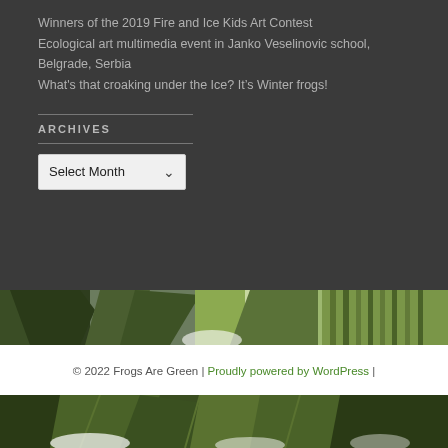Winners of the 2019 Fire and Ice Kids Art Contest
Ecological art multimedia event in Janko Veselinovic school, Belgrade, Serbia
What's that croaking under the Ice? It's Winter frogs!
ARCHIVES
Select Month
[Figure (illustration): Decorative green tropical foliage illustration band across mid-page]
© 2022 Frogs Are Green | Proudly powered by WordPress |
[Figure (illustration): Decorative green tropical foliage illustration band at bottom of page]